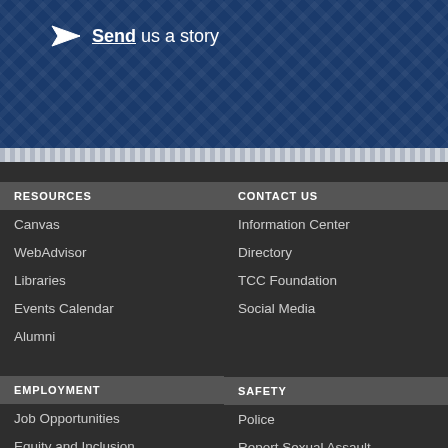Send us a story
RESOURCES
Canvas
WebAdvisor
Libraries
Events Calendar
Alumni
CONTACT US
Information Center
Directory
TCC Foundation
Social Media
EMPLOYMENT
Job Opportunities
Equity and Inclusion
Accessibility
SAFETY
Police
Report Sexual Assault Anonymously